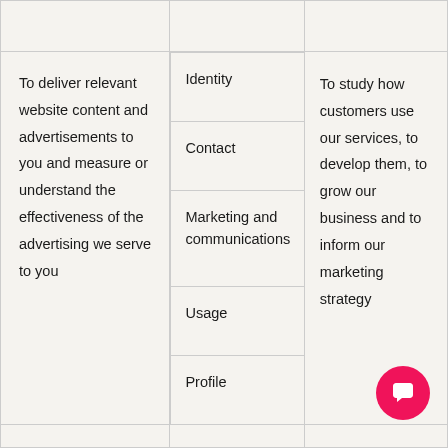| Purpose | Category of data | Legitimate interests |
| --- | --- | --- |
| To deliver relevant website content and advertisements to you and measure or understand the effectiveness of the advertising we serve to you | Identity
Contact
Marketing and communications
Usage
Profile | To study how customers use our services, to develop them, to grow our business and to inform our marketing strategy |